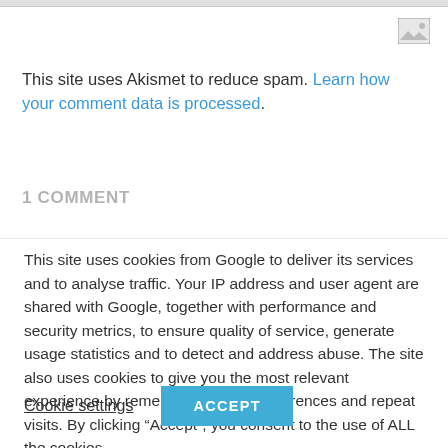[Figure (screenshot): Top navigation bar with image placeholder icon in top right corner]
This site uses Akismet to reduce spam. Learn how your comment data is processed.
1 COMMENT
This site uses cookies from Google to deliver its services and to analyse traffic. Your IP address and user agent are shared with Google, together with performance and security metrics, to ensure quality of service, generate usage statistics and to detect and address abuse. The site also uses cookies to give you the most relevant experience by remembering your preferences and repeat visits. By clicking “Accept”, you consent to the use of ALL the cookies.
Cookie settings  ACCEPT